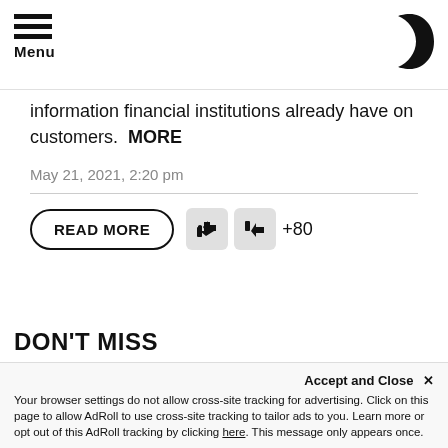Menu
information financial institutions already have on customers.  MORE
May 21, 2021, 2:20 pm
READ MORE  +80
DON'T MISS
[Figure (photo): Group of people in formal attire, possibly political figures, with a red circular logo overlay in the upper left]
Accept and Close ×
Your browser settings do not allow cross-site tracking for advertising. Click on this page to allow AdRoll to use cross-site tracking to tailor ads to you. Learn more or opt out of this AdRoll tracking by clicking here. This message only appears once.